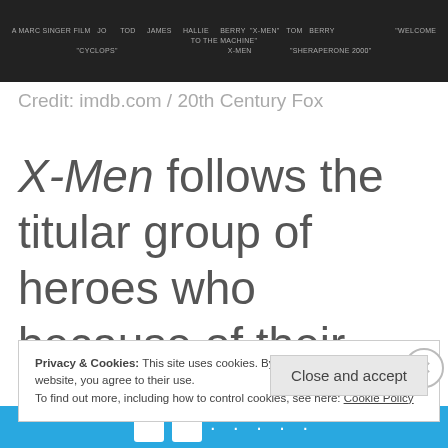[Figure (photo): Movie banner/poster strip for X-Men, dark background with small credits text]
Credit: imdb.com / 20th Century Fox
X-Men follows the titular group of heroes who because of their extraordinary abilities, are
Privacy & Cookies: This site uses cookies. By continuing to use this website, you agree to their use.
To find out more, including how to control cookies, see here: Cookie Policy
Close and accept
[Figure (screenshot): Blue advertisement banner at the bottom of the page]